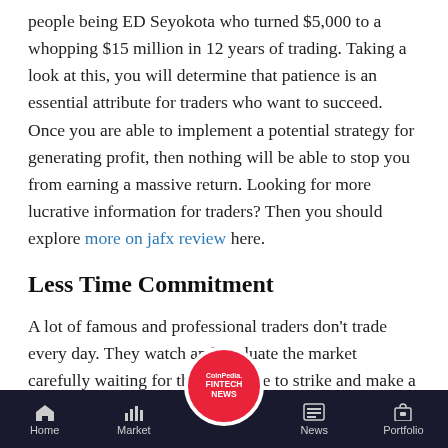people being ED Seyokota who turned $5,000 to a whopping $15 million in 12 years of trading. Taking a look at this, you will determine that patience is an essential attribute for traders who want to succeed. Once you are able to implement a potential strategy for generating profit, then nothing will be able to stop you from earning a massive return. Looking for more lucrative information for traders? Then you should explore more on jafx review here.
Less Time Commitment
A lot of famous and professional traders don't trade every day. They watch and evaluate the market carefully waiting for the right time to strike and make a profit. You might be surprised to know that most professionals only trade for a few hours.
Home | Market | CoinPedia FINTECH NEWS | News | Portfolio